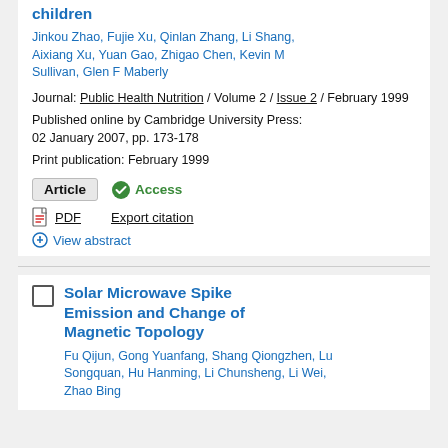children
Jinkou Zhao, Fujie Xu, Qinlan Zhang, Li Shang, Aixiang Xu, Yuan Gao, Zhigao Chen, Kevin M Sullivan, Glen F Maberly
Journal: Public Health Nutrition / Volume 2 / Issue 2 / February 1999
Published online by Cambridge University Press: 02 January 2007, pp. 173-178
Print publication: February 1999
Article   Access
PDF   Export citation
View abstract
Solar Microwave Spike Emission and Change of Magnetic Topology
Fu Qijun, Gong Yuanfang, Shang Qiongzhen, Lu Songquan, Hu Hanming, Li Chunsheng, Li Wei, Zhao Bing